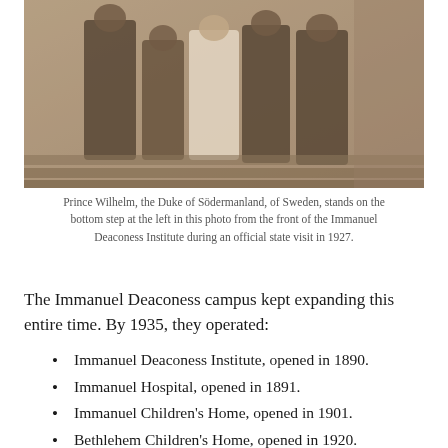[Figure (photo): Sepia-toned historical photograph showing several people standing on front steps of a brick building. Prince Wilhelm, the Duke of Södermanland, of Sweden, stands on the bottom step at the left.]
Prince Wilhelm, the Duke of Södermanland, of Sweden, stands on the bottom step at the left in this photo from the front of the Immanuel Deaconess Institute during an official state visit in 1927.
The Immanuel Deaconess campus kept expanding this entire time. By 1935, they operated:
Immanuel Deaconess Institute, opened in 1890.
Immanuel Hospital, opened in 1891.
Immanuel Children's Home, opened in 1901.
Bethlehem Children's Home, opened in 1920.
Nazareth Home for the Aged Invalid
Immanuel School of Nursing